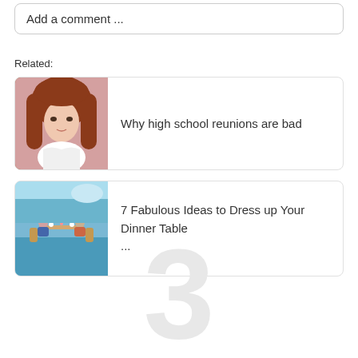Add a comment ...
Related:
[Figure (photo): Portrait photo of a young woman with long red hair wearing a white ruffled top]
Why high school reunions are bad
[Figure (photo): Photo of people at an outdoor dinner table setting near water]
7 Fabulous Ideas to Dress up Your Dinner Table ...
3